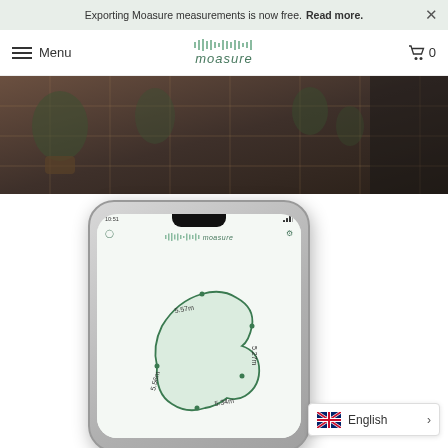Exporting Moasure measurements is now free. Read more.
Menu  moasure  0
[Figure (photo): Hero image showing a dark garden patio scene with potted plants and paving stones]
[Figure (screenshot): Smartphone mockup showing the Moasure app interface with a garden measurement map drawn on screen, showing measurements like 5.57m, 5.27m, 5.56m, 5.34m]
[Figure (other): Language selector popup in bottom right showing British flag and 'English' with a right arrow chevron]